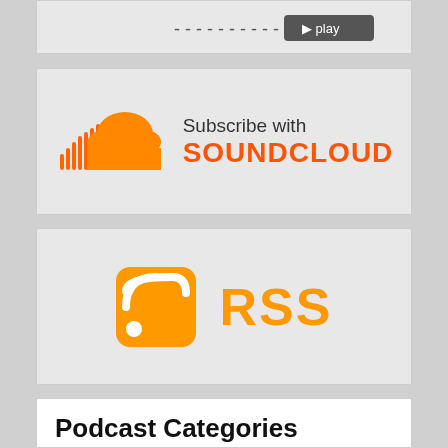[Figure (logo): Partial top banner showing cropped content from previous section]
[Figure (logo): Subscribe with SoundCloud banner with orange cloud logo and text 'Subscribe with SOUNDCLOUD']
[Figure (logo): RSS subscribe banner with orange RSS icon and orange RSS text]
Podcast Categories
All Podcasts
Blogging
Community Marketing
Content Marketing